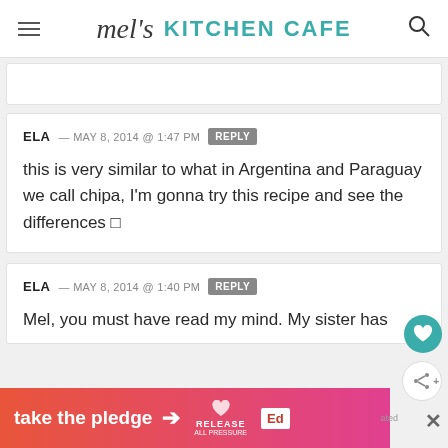mel's KITCHEN CAFE
ELA — MAY 8, 2014 @ 1:47 PM REPLY
this is very similar to what in Argentina and Paraguay we call chipa, I'm gonna try this recipe and see the differences 🙂
ELA — MAY 8, 2014 @ 1:40 PM REPLY
Mel, you must have read my mind. My sister has
[Figure (infographic): take the pledge advertisement banner with orange-pink gradient, arrow, Release logo, and Ed logo]